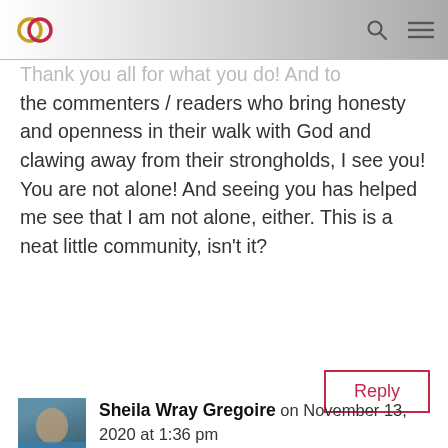Thank you all for what you do! And to the commenters / readers who bring honesty and openness in their walk with God and clawing away from their strongholds, I see you! You are not alone! And seeing you has helped me see that I am not alone, either. This is a neat little community, isn't it?
Reply
Sheila Wray Gregoire on November 13, 2020 at 1:36 pm
Hi Michelle! Welcome back to the comments!